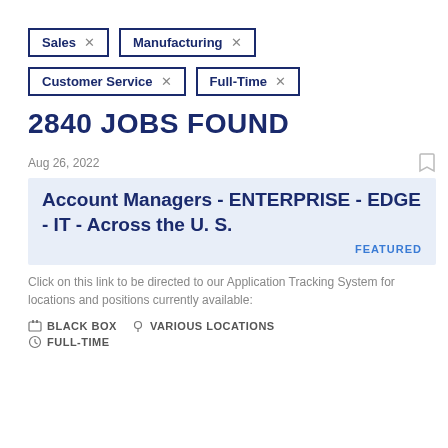Sales ×
Manufacturing ×
Customer Service ×
Full-Time ×
2840 JOBS FOUND
Aug 26, 2022
Account Managers - ENTERPRISE - EDGE - IT - Across the U. S.
FEATURED
Click on this link to be directed to our Application Tracking System for locations and positions currently available:
BLACK BOX   VARIOUS LOCATIONS
FULL-TIME